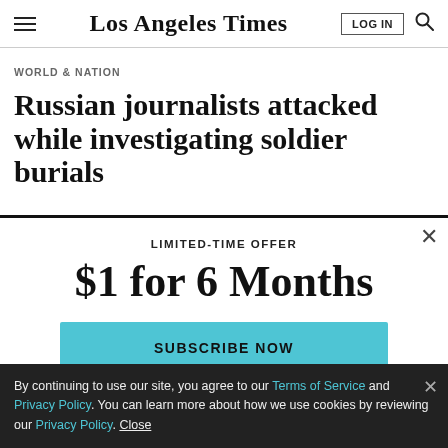Los Angeles Times
WORLD & NATION
Russian journalists attacked while investigating soldier burials
LIMITED-TIME OFFER
$1 for 6 Months
SUBSCRIBE NOW
By continuing to use our site, you agree to our Terms of Service and Privacy Policy. You can learn more about how we use cookies by reviewing our Privacy Policy. Close